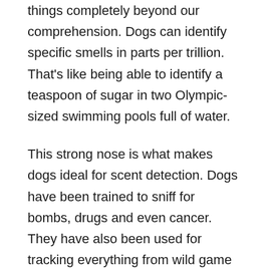things completely beyond our comprehension. Dogs can identify specific smells in parts per trillion. That's like being able to identify a teaspoon of sugar in two Olympic-sized swimming pools full of water.
This strong nose is what makes dogs ideal for scent detection. Dogs have been trained to sniff for bombs, drugs and even cancer. They have also been used for tracking everything from wild game to missing persons. Many important jobs rely on a well-functioning and healthy dog nose.